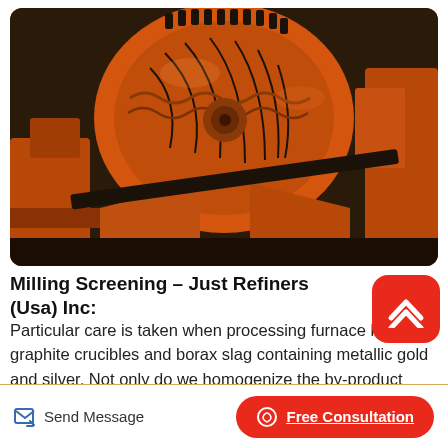[Figure (photo): Close-up photo of large orange industrial milling/crushing machinery with gears and metal components]
Milling Screening – Just Refiners (Usa) Inc:
Particular care is taken when processing furnace linings, graphite crucibles and borax slag containing metallic gold and silver. Not only do we homogenize the by-product materials by crushing to reduce the particle size to less than 10 mm (1 4 inch) in size for sampling purposes, we proceed to
Send Message
Free Consultation